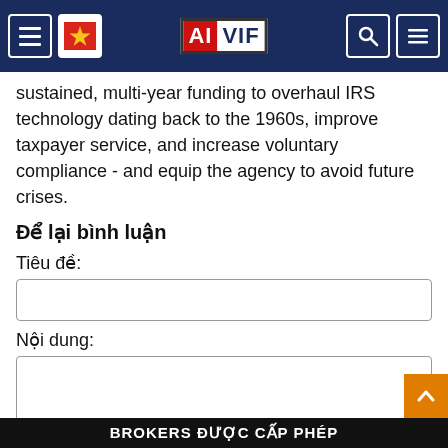AIVIF navigation header
sustained, multi-year funding to overhaul IRS technology dating back to the 1960s, improve taxpayer service, and increase voluntary compliance - and equip the agency to avoid future crises.
Để lại bình luận
Tiêu đề:
Nội dung:
Bình luận
BROKERS ĐƯỢC CẤP PHÉP